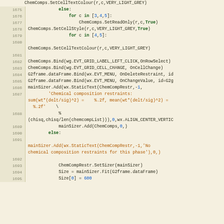Source code listing lines 1675-1695, Python code for chemical composition restraints GUI
1675: else:
1676:     for c in [3,4,5]:
1677:         ChemComps.SetReadOnly(r,c,True)
1678: ChemComps.SetCellStyle(r,c,VERY_LIGHT_GREY,True)
1679:         for c in [4,5]:
1680: ChemComps.SetCellTextColour(r,c,VERY_LIGHT_GREY)
1681: (blank)
1682: ChemComps.Bind(wg.EVT_GRID_LABEL_LEFT_CLICK,OnRowSelect)
1683: ChemComps.Bind(wg.EVT_GRID_CELL_CHANGE, OnCellChange)
1684: G2frame.dataFrame.Bind(wx.EVT_MENU, OnDeleteRestraint, id
1685: G2frame.dataFrame.Bind(wx.EVT_MENU, OnChangeValue, id=G2g
1686: mainSizer.Add(wx.StaticText(ChemCompRestr,-1,
1687:     'Chemical composition restraints: sum(wt*(delt/sig)^2) = %.2f, mean(wt*(delt/sig)^2) = %.2f' \
1688:         % (chisq,chisq/len(chemcompList))),0,wx.ALIGN_CENTER_VERTIC
1689:         mainSizer.Add(ChemComps,0,)
1690:     else:
1691: (blank)
1692: mainSizer.Add(wx.StaticText(ChemCompRestr,-1,'No chemical composition restraints for this phase'),0,)
1693: (blank)
1694:         ChemCompRestr.SetSizer(mainSizer)
1695:         Size = mainSizer.Fit(G2frame.dataFrame)
1696:         Size[0] = 600